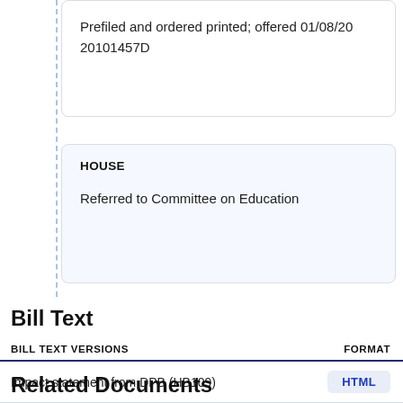Prefiled and ordered printed; offered 01/08/20
20101457D
HOUSE
Referred to Committee on Education
Bill Text
| BILL TEXT VERSIONS | FORMAT |
| --- | --- |
| Impact statement from DPB (HB109) | HTML |
Related Documents
| DOCUMENT | FORMAT |
| --- | --- |